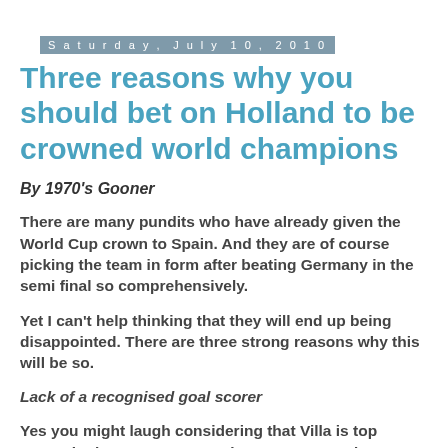Saturday, July 10, 2010
Three reasons why you should bet on Holland to be crowned world champions
By 1970’s Gooner
There are many pundits who have already given the World Cup crown to Spain. And they are of course picking the team in form after beating Germany in the semi final so comprehensively.
Yet I can’t help thinking that they will end up being disappointed. There are three strong reasons why this will be so.
Lack of a recognised goal scorer
Yes you might laugh considering that Villa is top scorer in the tournament at the moment. Yet due to Torres’s